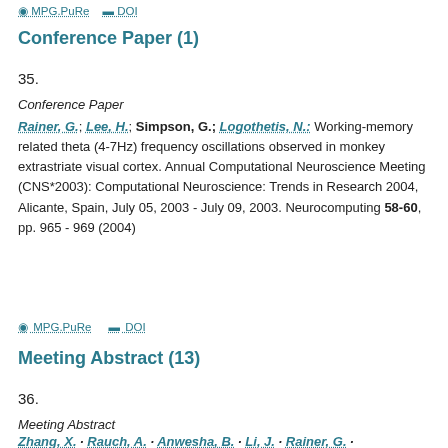MPG.PuRe  DOI
Conference Paper (1)
35.
Conference Paper
Rainer, G.; Lee, H.; Simpson, G.; Logothetis, N.: Working-memory related theta (4-7Hz) frequency oscillations observed in monkey extrastriate visual cortex. Annual Computational Neuroscience Meeting (CNS*2003): Computational Neuroscience: Trends in Research 2004, Alicante, Spain, July 05, 2003 - July 09, 2003. Neurocomputing 58-60, pp. 965 - 969 (2004)
MPG.PuRe  DOI
Meeting Abstract (13)
36.
Meeting Abstract
Zhang, X.; Rauch, A.; Anwesha, B.; Li, J.; Rainer, G.;